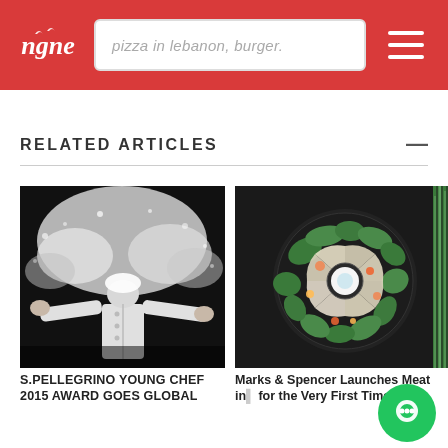ngne — pizza in lebanon, burger. [navigation header with logo and hamburger menu]
RELATED ARTICLES
[Figure (photo): Black and white photo of a chef in white uniform tossing flour into the air with arms outstretched]
S.PELLEGRINO YOUNG CHEF 2015 AWARD GOES GLOBAL
[Figure (photo): Overhead dark background photo of an elegantly plated salad dish in a black bowl with greens, apple slices, and a small round dressing bowl in center]
Marks & Spencer Launches Meat in... for the Very First Time